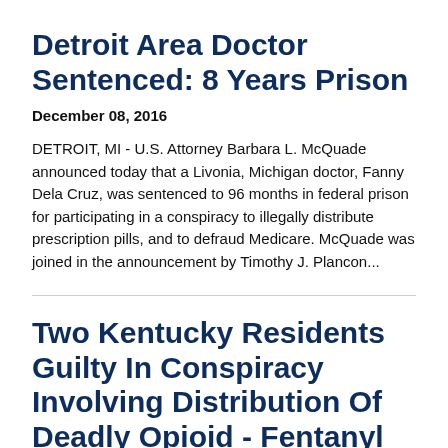Detroit Area Doctor Sentenced: 8 Years Prison
December 08, 2016
DETROIT, MI - U.S. Attorney Barbara L. McQuade announced today that a Livonia, Michigan doctor, Fanny Dela Cruz, was sentenced to 96 months in federal prison for participating in a conspiracy to illegally distribute prescription pills, and to defraud Medicare. McQuade was joined in the announcement by Timothy J. Plancon...
Two Kentucky Residents Guilty In Conspiracy Involving Distribution Of Deadly Opioid - Fentanyl